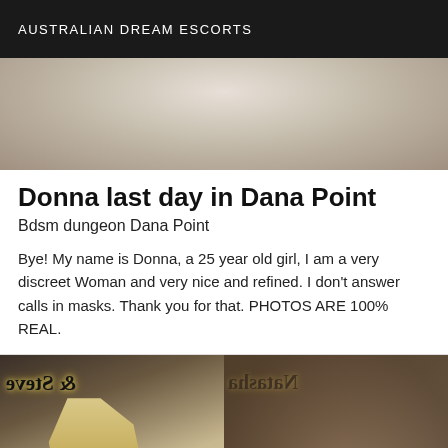AUSTRALIAN DREAM ESCORTS
[Figure (photo): Cropped photo of a person wearing a white top, torso view]
Donna last day in Dana Point
Bdsm dungeon Dana Point
Bye! My name is Donna, a 25 year old girl, I am a very discreet Woman and very nice and refined. I don't answer calls in masks. Thank you for that. PHOTOS ARE 100% REAL.
[Figure (photo): Two-panel photo with mirrored text overlay reading 'Natasha & Steve', showing a blonde person on the left and a blurred scene on the right]